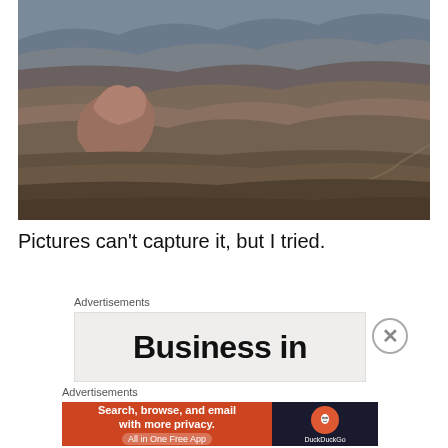[Figure (photo): Aerial photograph of the Grand Canyon showing layered red and grey rock formations, buttes, and canyon terrain]
Pictures can’t capture it, but I tried.
Advertisements
[Figure (other): Advertisement banner showing 'Business in' text in large bold font on a light background]
Advertisements
[Figure (other): DuckDuckGo advertisement: 'Search, browse, and email with more privacy. All in One Free App' on orange background with DuckDuckGo logo on dark background]